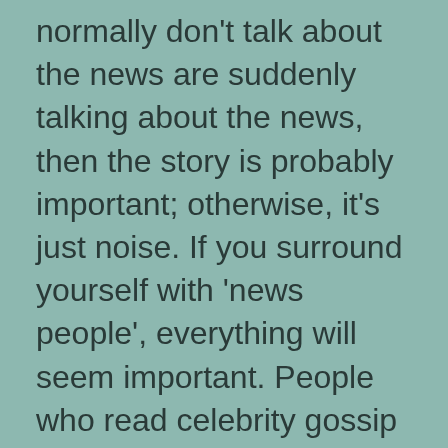normally don't talk about the news are suddenly talking about the news, then the story is probably important; otherwise, it's just noise. If you surround yourself with 'news people', everything will seem important. People who read celebrity gossip may be ignorant, but they aren't really missing anything either. The auto-pilot, deterministic American economy and society means minimal individual input is necessary.
Neoconservatism and neoliberalism succeed because they are amorphous, adaptable, and